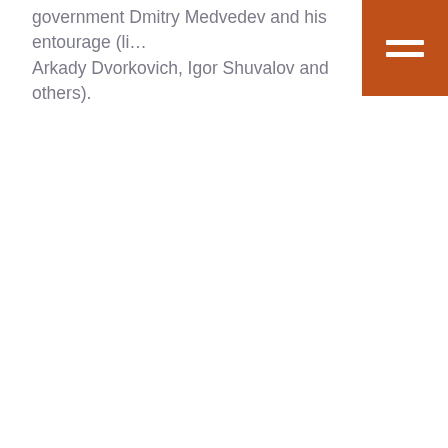government Dmitry Medvedev and his entourage (li… Arkady Dvorkovich, Igor Shuvalov and others).